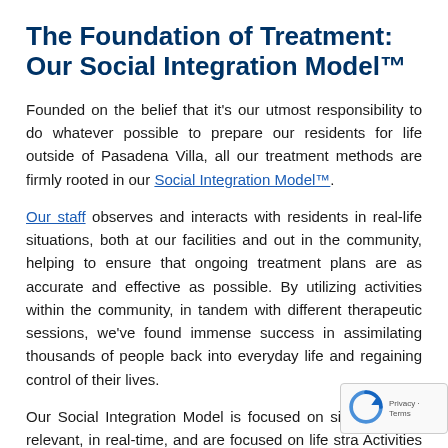The Foundation of Treatment: Our Social Integration Model™
Founded on the belief that it's our utmost responsibility to do whatever possible to prepare our residents for life outside of Pasadena Villa, all our treatment methods are firmly rooted in our Social Integration Model™.
Our staff observes and interacts with residents in real-life situations, both at our facilities and out in the community, helping to ensure that ongoing treatment plans are as accurate and effective as possible. By utilizing activities within the community, in tandem with different therapeutic sessions, we've found immense success in assimilating thousands of people back into everyday life and regaining control of their lives.
Our Social Integration Model is focused on situations are relevant, in real-time, and are focused on life stra Activities include: